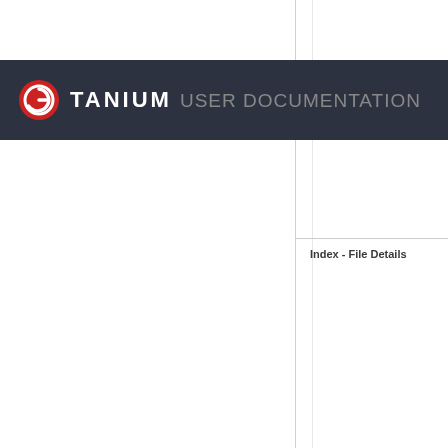TANIUM USER DOCUMENTATION
Index - File Details